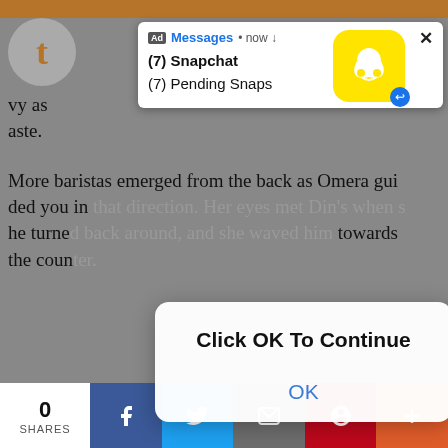[Figure (screenshot): Snapchat notification popup ad showing Messages now with (7) Snapchat and (7) Pending Snaps, with Snapchat ghost icon]
vy as
aste.
More baristas emerged from the back as Omera guided you in that direction. Her eyes met Din's when she turned back around, and she waved him towards the counter.
[Figure (screenshot): Click OK To Continue dialog box overlay with OK button]
“Din, right?” she started. “We met last week.”
Din gave her a nod as he recalled Fennec bringing her to the station. Why it took her so long to introduce the crew to her girlfriend — especially given her own need to butt into everyone else’s social lives — was beyond him.
0 SHARES  [Facebook] [Twitter] [Email] [Pinterest] [More]